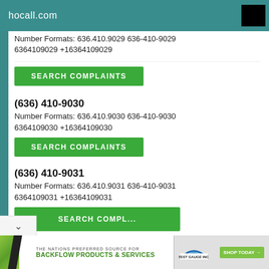hocall.com
Number Formats: 636.410.9029 636-410-9029 6364109029 +16364109029
SEARCH COMPLAINTS
(636) 410-9030
Number Formats: 636.410.9030 636-410-9030 6364109030 +16364109030
SEARCH COMPLAINTS
(636) 410-9031
Number Formats: 636.410.9031 636-410-9031 6364109031 +16364109031
SEARCH COMPLAINTS
[Figure (screenshot): Advertisement banner for backflow products and services from Test Gauge Inc. with 'THE NATIONS PREFERRED SOURCE FOR BACKFLOW PRODUCTS & SERVICES' and 'SHOP TODAY' button]